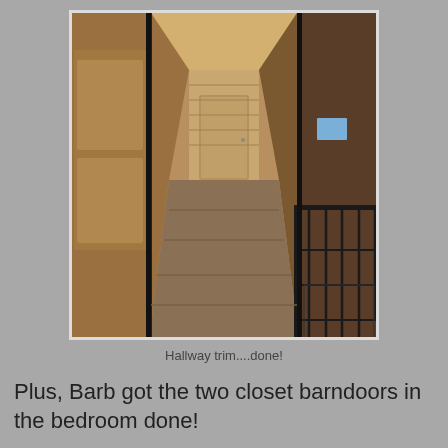[Figure (photo): Interior hallway with wood plank walls, wooden doors, dark trim, and hardwood flooring. View looking down the hallway toward a door at the end with stairs visible. Dark metal railing on the right side.]
Hallway trim....done!
Plus, Barb got the two closet barndoors in the bedroom done!